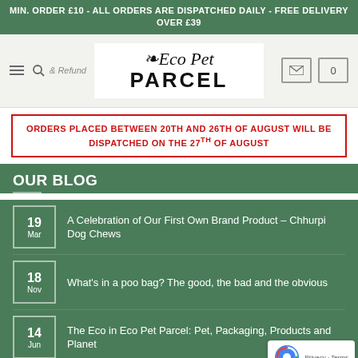MIN. ORDER £10 - ALL ORDERS ARE DISPATCHED DAILY - FREE DELIVERY OVER £39
[Figure (logo): Eco Pet Parcel logo with italic script 'Eco Pet' above bold uppercase 'PARCEL']
ORDERS PLACED BETWEEN 20TH AND 26TH OF AUGUST WILL BE DISPATCHED ON THE 27TH OF AUGUST
OUR BLOG
19 Mar — A Celebration of Our First Own Brand Product – Chhurpi Dog Chews
18 Nov — What's in a poo bag? The good, the bad and the obvious
14 Jun — The Eco in Eco Pet Parcel: Pet, Packaging, Products and Planet
23 May — Adjusting to Life with Covid-19: the story beh... Pet Parcel